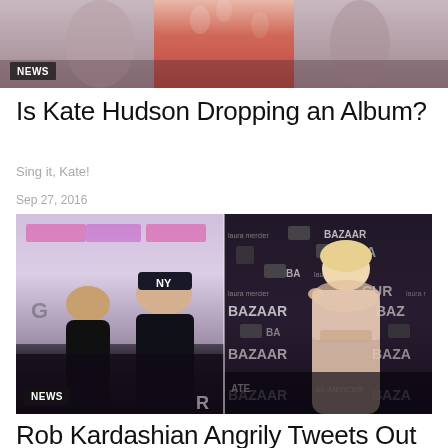[Figure (photo): Cropped photo showing a person in a red floral dress against a blurred background, with a NEWS badge overlay]
Is Kate Hudson Dropping an Album?
Sing it, Kate!
Sep 27, 2016
[Figure (photo): Left: Rob Kardashian and Blac Chyna posing together on a pink/purple step-and-repeat background. Right: Kylie Jenner posing at a Harper's BAZAAR event with logos on the backdrop. NEWS badge in lower left.]
Rob Kardashian Angrily Tweets Out